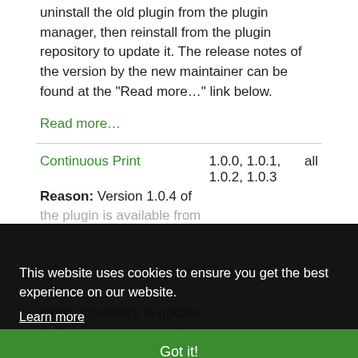uninstall the old plugin from the plugin manager, then reinstall from the plugin repository to update it. The release notes of the version by the new maintainer can be found at the "Read more…" link below.
Read more…
Continuous Print   1.0.0, 1.0.1, 1.0.2, 1.0.3   all
Reason: Version 1.0.4 of the plugin is available from…
This website uses cookies to ensure you get the best experience on our website.
Learn more
Got it!
plugin repository to update it. The release notes of the